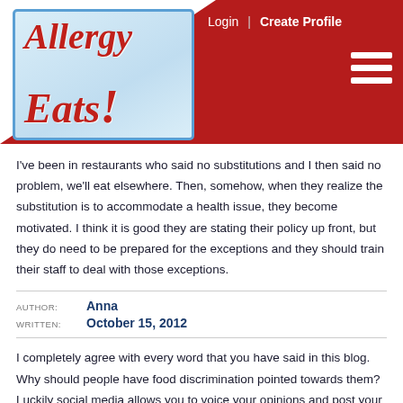[Figure (logo): AllergyEats logo with red script text on light blue background, inside red header bar. Navigation links: Login | Create Profile, and hamburger menu icon.]
I've been in restaurants who said no substitutions and I then said no problem, we'll eat elsewhere. Then, somehow, when they realize the substitution is to accommodate a health issue, they become motivated. I think it is good they are stating their policy up front, but they do need to be prepared for the exceptions and they should train their staff to deal with those exceptions.
AUTHOR: Anna
WRITTEN: October 15, 2012
I completely agree with every word that you have said in this blog. Why should people have food discrimination pointed towards them? Luckily social media allows you to voice your opinions and post your reviews these days, otherwise restaurants will continue to always get away with behaviours like